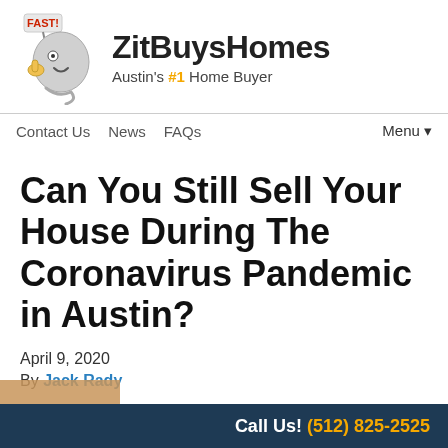[Figure (logo): ZitBuysHomes logo with cartoon mascot (tornado/cloud character holding a FAST sign) and brand name 'ZitBuysHomes' with tagline 'Austin's #1 Home Buyer']
Contact Us  News  FAQs  Menu▾
Can You Still Sell Your House During The Coronavirus Pandemic in Austin?
April 9, 2020
By Jack Rady
Call Us! (512) 825-2525